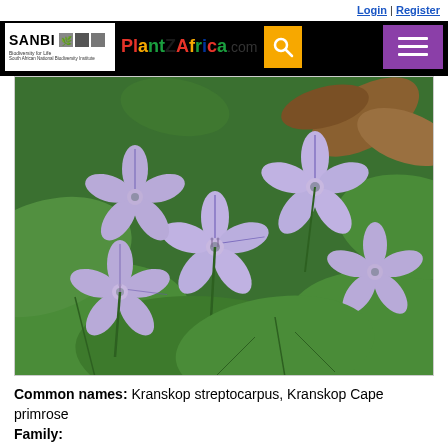Login | Register
[Figure (logo): SANBI Biodiversity for Life / South African National Biodiversity Institute logo and PlantZAfrica.com navigation bar with search and menu buttons]
[Figure (photo): Close-up photograph of light purple/lavender Streptocarpus flowers with dark veining on green leaves background]
Common names: Kranskop streptocarpus, Kranskop Cape primrose
Family: